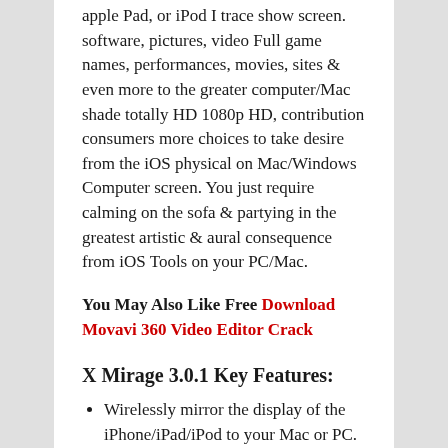apple Pad, or iPod I trace show screen. software, pictures, video Full game names, performances, movies, sites & even more to the greater computer/Mac shade totally HD 1080p HD, contribution consumers more choices to take desire from the iOS physical on Mac/Windows Computer screen. You just require calming on the sofa & partying in the greatest artistic & aural consequence from iOS Tools on your PC/Mac.
You May Also Like Free Download Movavi 360 Video Editor Crack
X Mirage 3.0.1 Key Features:
Wirelessly mirror the display of the iPhone/iPad/iPod to your Mac or PC.
Whatever you are doing on your iOS devices demonstrate it on Mac Or